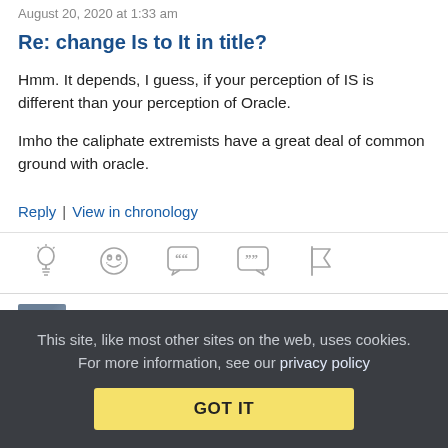August 20, 2020 at 1:33 am
Re: change Is to It in title?
Hmm. It depends, I guess, if your perception of IS is different than your perception of Oracle.

Imho the caliphate extremists have a great deal of common ground with oracle.
Reply | View in chronology
[Figure (infographic): Row of five reaction/action icons: lightbulb, laughing emoji, quote bubble, comment bubble, flag]
[Figure (photo): User avatar thumbnail, partially visible at bottom]
This site, like most other sites on the web, uses cookies. For more information, see our privacy policy
GOT IT